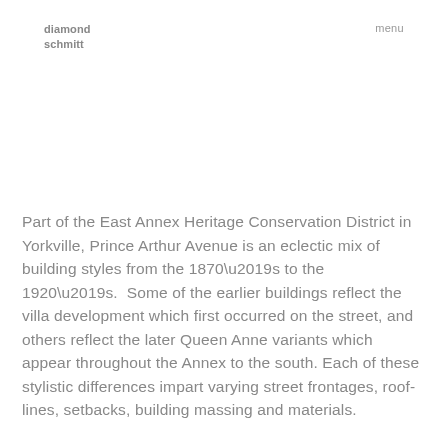diamond schmitt
menu
Part of the East Annex Heritage Conservation District in Yorkville, Prince Arthur Avenue is an eclectic mix of building styles from the 1870’s to the 1920’s.  Some of the earlier buildings reflect the villa development which first occurred on the street, and others reflect the later Queen Anne variants which appear throughout the Annex to the south. Each of these stylistic differences impart varying street frontages, roof-lines, setbacks, building massing and materials.
17 Prince Arthur is a villa-style building with generous